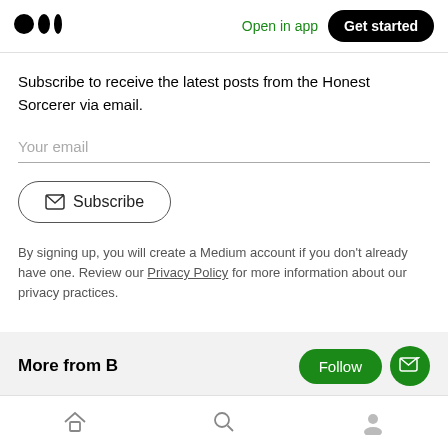Medium logo | Open in app | Get started
Subscribe to receive the latest posts from the Honest Sorcerer via email.
Your email
Subscribe
By signing up, you will create a Medium account if you don't already have one. Review our Privacy Policy for more information about our privacy practices.
More from B
Home | Search | Profile